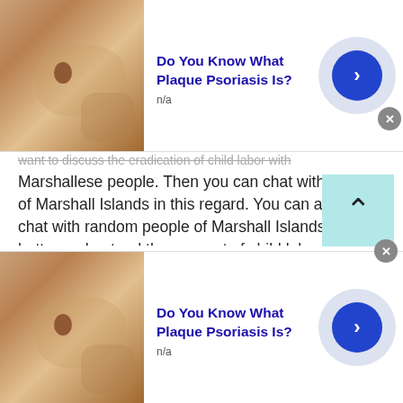[Figure (other): Top advertisement banner: skin-condition photo on left, bold blue title 'Do You Know What Plaque Psoriasis Is?', 'n/a' subtitle, arrow button on right]
want to discuss the eradication of child labor with Marshallese people. Then you can chat with people of Marshall Islands in this regard. You can also video chat with random people of Marshall Islands to better understand the concept of child labor. The video calling facility will enable you to look around the locality and the lifestyle of the people. And then you can directly ask them questions about why they force their children to work.

Apart from this, you can also chat with people at a
[Figure (other): Bottom advertisement banner: skin-condition photo on left, bold blue title 'Do You Know What Plaque Psoriasis Is?', 'n/a' subtitle, arrow button on right]